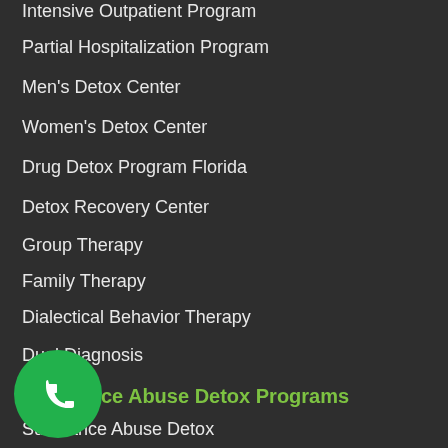Intensive Outpatient Program
Partial Hospitalization Program
Men's Detox Center
Women's Detox Center
Drug Detox Program Florida
Detox Recovery Center
Group Therapy
Family Therapy
Dialectical Behavior Therapy
Dual Diagnosis
Substance Abuse Detox Programs
Substance Abuse Detox
Alcohol Detox Center
Heroin Detox Center
Benzo Detox Center